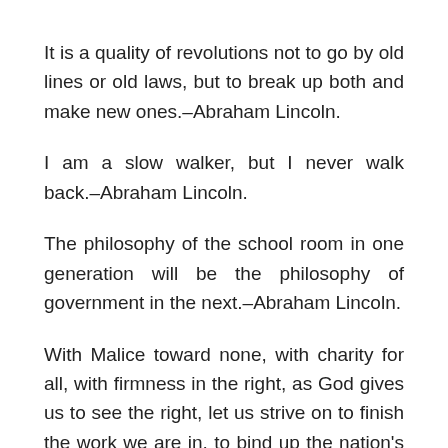It is a quality of revolutions not to go by old lines or old laws, but to break up both and make new ones.–Abraham Lincoln.
I am a slow walker, but I never walk back.–Abraham Lincoln.
The philosophy of the school room in one generation will be the philosophy of government in the next.–Abraham Lincoln.
With Malice toward none, with charity for all, with firmness in the right, as God gives us to see the right, let us strive on to finish the work we are in, to bind up the nation's wounds.–Abraham Lincoln.
Don't when you are not recognized, but strive to be